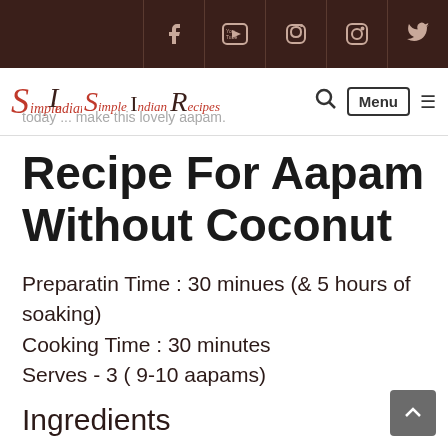Simple Indian Recipes — navigation bar with social icons (Facebook, YouTube, Pinterest, Instagram, Twitter)
today ... make this lovely aapam.
Recipe For Aapam Without Coconut
Preparatin Time : 30 minues (& 5 hours of soaking)
Cooking Time : 30 minutes
Serves - 3 ( 9-10 aapams)
Ingredients